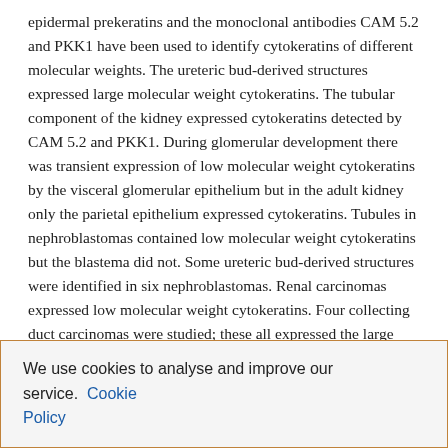epidermal prekeratins and the monoclonal antibodies CAM 5.2 and PKK1 have been used to identify cytokeratins of different molecular weights. The ureteric bud-derived structures expressed large molecular weight cytokeratins. The tubular component of the kidney expressed cytokeratins detected by CAM 5.2 and PKK1. During glomerular development there was transient expression of low molecular weight cytokeratins by the visceral glomerular epithelium but in the adult kidney only the parietal epithelium expressed cytokeratins. Tubules in nephroblastomas contained low molecular weight cytokeratins but the blastema did not. Some ureteric bud-derived structures were identified in six nephroblastomas. Renal carcinomas expressed low molecular weight cytokeratins. Four collecting duct carcinomas were studied; these all expressed the large molecular weight cytokeratins found in collecting duct epithelium. These results indicate that the cytokeratin phenotype of renal tumours is unchanged from that of the normal epithelial cells.
We use cookies to analyse and improve our service. Cookie Policy